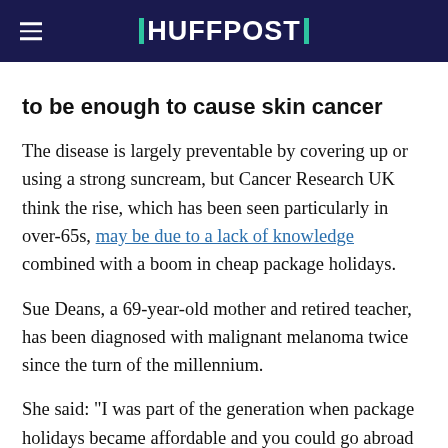HUFFPOST
to be enough to cause skin cancer
The disease is largely preventable by covering up or using a strong suncream, but Cancer Research UK think the rise, which has been seen particularly in over-65s, may be due to a lack of knowledge combined with a boom in cheap package holidays.
Sue Deans, a 69-year-old mother and retired teacher, has been diagnosed with malignant melanoma twice since the turn of the millennium.
She said: "I was part of the generation when package holidays became affordable and you could go abroad